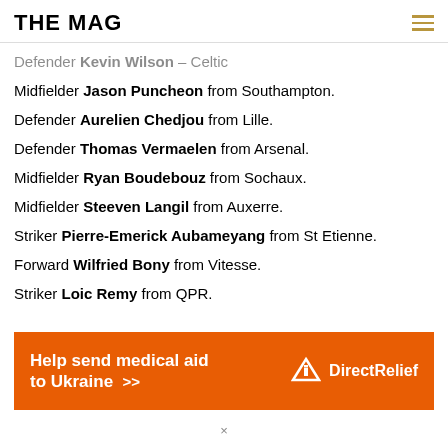THE MAG
Defender Kevin Wilson – Celtic
Midfielder Jason Puncheon from Southampton.
Defender Aurelien Chedjou from Lille.
Defender Thomas Vermaelen from Arsenal.
Midfielder Ryan Boudebouz from Sochaux.
Midfielder Steeven Langil from Auxerre.
Striker Pierre-Emerick Aubameyang from St Etienne.
Forward Wilfried Bony from Vitesse.
Striker Loic Remy from QPR.
[Figure (infographic): Orange banner advertisement: Help send medical aid to Ukraine >> DirectRelief logo]